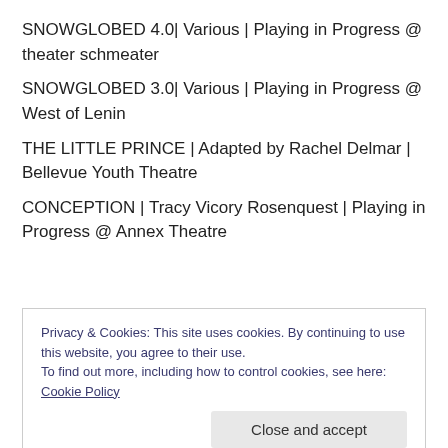SNOWGLOBED 4.0| Various | Playing in Progress @ theater schmeater
SNOWGLOBED 3.0| Various | Playing in Progress @ West of Lenin
THE LITTLE PRINCE | Adapted by Rachel Delmar | Bellevue Youth Theatre
CONCEPTION | Tracy Vicory Rosenquest | Playing in Progress @ Annex Theatre
Privacy & Cookies: This site uses cookies. By continuing to use this website, you agree to their use. To find out more, including how to control cookies, see here: Cookie Policy
Close and accept